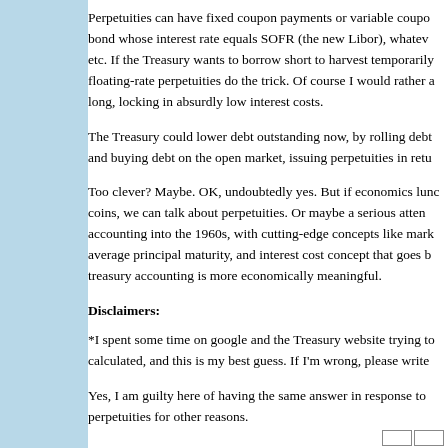Perpetuities can have fixed coupon payments or variable coupo bond whose interest rate equals SOFR (the new Libor), whatev etc. If the Treasury wants to borrow short to harvest temporarily floating-rate perpetuities do the trick. Of course I would rather a long, locking in absurdly low interest costs.
The Treasury could lower debt outstanding now, by rolling debt and buying debt on the open market, issuing perpetuities in retu
Too clever? Maybe. OK, undoubtedly yes. But if economics lunc coins, we can talk about perpetuities. Or maybe a serious atten accounting into the 1960s, with cutting-edge concepts like mark average principal maturity, and interest cost concept that goes b treasury accounting is more economically meaningful.
Disclaimers:
*I spent some time on google and the Treasury website trying to calculated, and this is my best guess. If I'm wrong, please write
Yes, I am guilty here of having the same answer in response to perpetuities for other reasons.